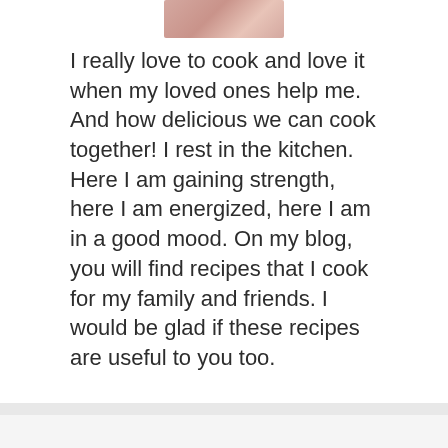[Figure (photo): Partial photo of a person, cropped at the top of the page]
I really love to cook and love it when my loved ones help me. And how delicious we can cook together! I rest in the kitchen. Here I am gaining strength, here I am energized, here I am in a good mood. On my blog, you will find recipes that I cook for my family and friends. I would be glad if these recipes are useful to you too.
About us
Contact
Privacy Policy & Cookies
ATTENTION TO RIGHT HOLDERS! All